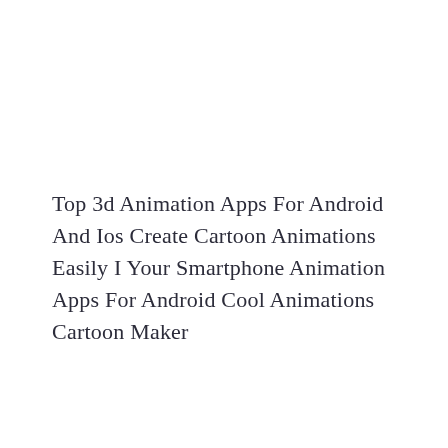Top 3d Animation Apps For Android And Ios Create Cartoon Animations Easily I Your Smartphone Animation Apps For Android Cool Animations Cartoon Maker